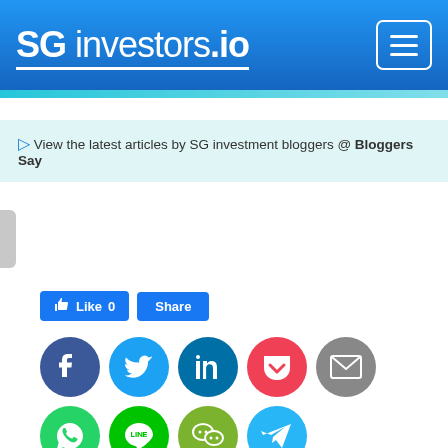SG investors.io
View the latest articles by SG investment bloggers @ Bloggers Say
[Figure (other): Social media like and share buttons (Facebook Like 0, Share)]
[Figure (other): Social sharing icons: Facebook, Twitter, LinkedIn, Pocket, Email, WhatsApp, LINE, WeChat, Telegram]